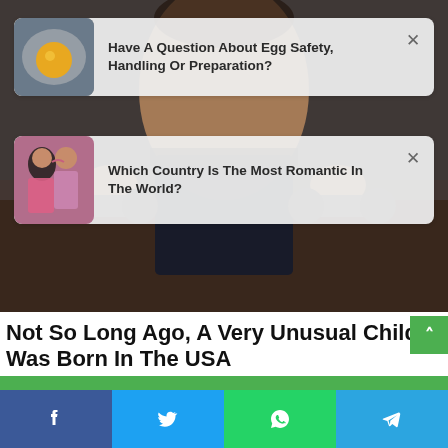[Figure (photo): Background photo of a shirtless child/young person lifting dumbbells in a room]
[Figure (photo): Ad card 1: thumbnail of a cracked egg yolk; headline: Have A Question About Egg Safety, Handling Or Preparation?]
[Figure (photo): Ad card 2: thumbnail of a couple about to kiss; headline: Which Country Is The Most Romantic In The World?]
Not So Long Ago, A Very Unusual Child Was Born In The USA
BRAINBERRIES
[Figure (infographic): Social share bar with Facebook, Twitter, WhatsApp, and Telegram buttons at the bottom]